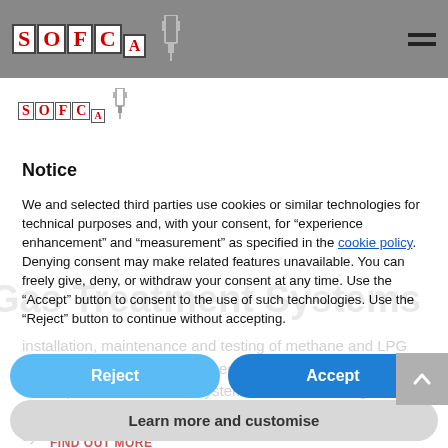SOFCA logo navigation bar with hamburger menu
[Figure (logo): SOFCA logo with red letter boxes S, O, F, C, A and a plug icon, displayed twice — once in the top navigation bar and once below it on the page body]
Notice
We and selected third parties use cookies or similar technologies for technical purposes and, with your consent, for “experience enhancement” and “measurement” as specified in the cookie policy. Denying consent may make related features unavailable. You can freely give, deny, or withdraw your consent at any time. Use the “Accept” button to consent to the use of such technologies. Use the “Reject” button to continue without accepting.
Reject
Accept
Learn more and customise
FIND OUT MORE